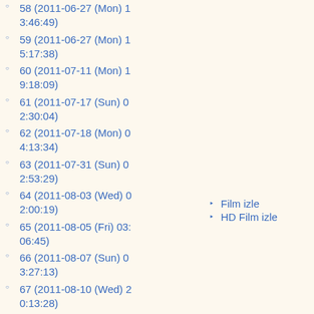58 (2011-06-27 (Mon) 13:46:49)
59 (2011-06-27 (Mon) 15:17:38)
60 (2011-07-11 (Mon) 19:18:09)
61 (2011-07-17 (Sun) 02:30:04)
62 (2011-07-18 (Mon) 04:13:34)
63 (2011-07-31 (Sun) 02:53:29)
64 (2011-08-03 (Wed) 02:00:19)
65 (2011-08-05 (Fri) 03:06:45)
66 (2011-08-07 (Sun) 03:27:13)
67 (2011-08-10 (Wed) 20:13:28)
68 (2011-08-19 (Fri) 22:07:57)
69 (2011-08-21 (Sun) 04:15:57)
70 (2011-08-25 (Thu) 01:56:37)
Film izle
HD Film izle